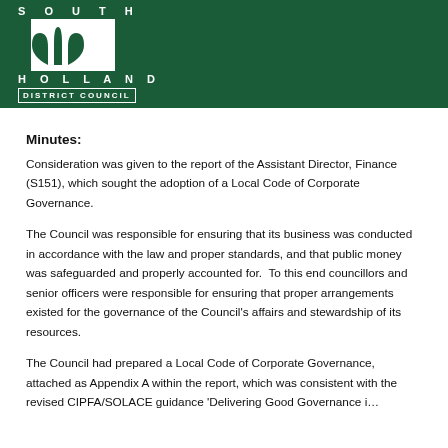[Figure (logo): South Holland District Council logo — white tulip/shield emblem on dark green background with text SOUTH HOLLAND DISTRICT COUNCIL]
Minutes:
Consideration was given to the report of the Assistant Director, Finance (S151), which sought the adoption of a Local Code of Corporate Governance.
The Council was responsible for ensuring that its business was conducted in accordance with the law and proper standards, and that public money was safeguarded and properly accounted for.  To this end councillors and senior officers were responsible for ensuring that proper arrangements existed for the governance of the Council's affairs and stewardship of its resources.
The Council had prepared a Local Code of Corporate Governance, attached as Appendix A within the report, which was consistent with the revised CIPFA/SOLACE guidance 'Delivering Good Governance i…